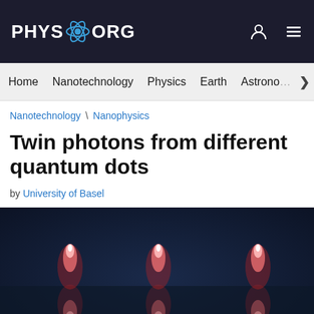PHYS.ORG
Home | Nanotechnology | Physics | Earth | Astronomy
Nanotechnology \ Nanophysics
Twin photons from different quantum dots
by University of Basel
[Figure (photo): Three glowing reddish-pink quantum dot light sources against a dark blue background, each with a bright elongated teardrop shape and its reflection below, arranged in a row.]